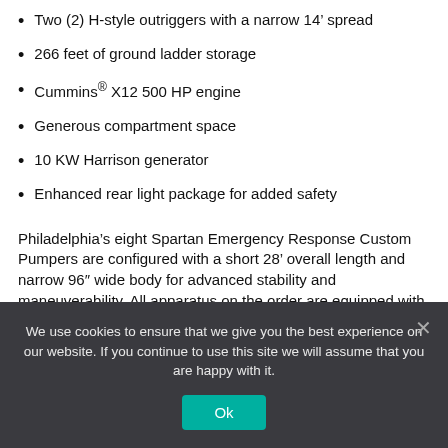Two (2) H-style outriggers with a narrow 14' spread
266 feet of ground ladder storage
Cummins® X12 500 HP engine
Generous compartment space
10 KW Harrison generator
Enhanced rear light package for added safety
Philadelphia's eight Spartan Emergency Response Custom Pumpers are configured with a short 28' overall length and narrow 96" wide body for advanced stability and maneuverability. All apparatus on the order are equipped with the Spartan Advanced Protection System® (APS), the industry's leading
We use cookies to ensure that we give you the best experience on our website. If you continue to use this site we will assume that you are happy with it.